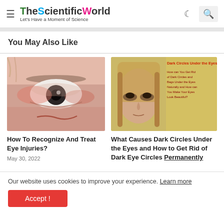TheScientificWorld — Let's Have a Moment of Science
You May Also Like
[Figure (photo): Close-up of a human eye with redness and injury]
How To Recognize And Treat Eye Injuries?
May 30, 2022
[Figure (photo): Dark Circles Under the Eyes article thumbnail showing a woman with dark eye circles. Text overlay: 'Dark Circles Under the Eyes — How can You Get Rid of Dark Circles and Bags Under the Eyes Naturally and How can You Make Your Eyes Look Beautiful?']
What Causes Dark Circles Under the Eyes and How to Get Rid of Dark Eye Circles Permanently
Our website uses cookies to improve your experience. Learn more
Accept !